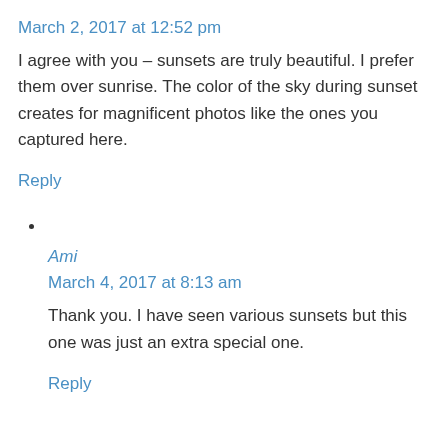March 2, 2017 at 12:52 pm
I agree with you – sunsets are truly beautiful. I prefer them over sunrise. The color of the sky during sunset creates for magnificent photos like the ones you captured here.
Reply
Ami
March 4, 2017 at 8:13 am
Thank you. I have seen various sunsets but this one was just an extra special one.
Reply